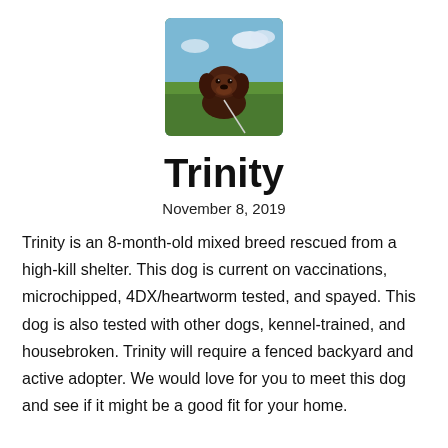[Figure (photo): A chocolate Labrador/mixed breed puppy sitting on green grass outdoors, looking at the camera with a leash visible, blue sky in background.]
Trinity
November 8, 2019
Trinity is an 8-month-old mixed breed rescued from a high-kill shelter. This dog is current on vaccinations, microchipped, 4DX/heartworm tested, and spayed. This dog is also tested with other dogs, kennel-trained, and housebroken. Trinity will require a fenced backyard and active adopter. We would love for you to meet this dog and see if it might be a good fit for your home.